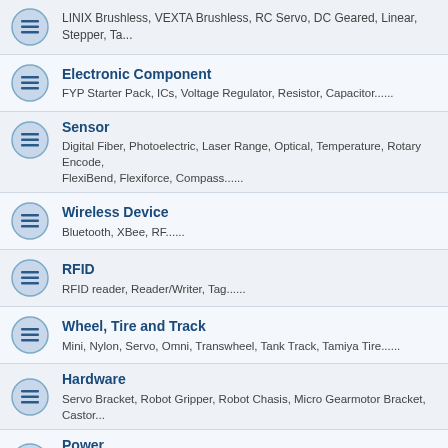LINIX Brushless, VEXTA Brushless, RC Servo, DC Geared, Linear, Stepper, Ta...
Electronic Component
FYP Starter Pack, ICs, Voltage Regulator, Resistor, Capacitor......
Sensor
Digital Fiber, Photoelectric, Laser Range, Optical, Temperature, Rotary Encode, FlexiBend, Flexiforce, Compass......
Wireless Device
Bluetooth, XBee, RF......
RFID
RFID reader, Reader/Writer, Tag......
Wheel, Tire and Track
Mini, Nylon, Servo, Omni, Transwheel, Tank Track, Tamiya Tire......
Hardware
Servo Bracket, Robot Gripper, Robot Chasis, Micro Gearmotor Bracket, Castor...
Power
AC-DC Adapter, Transformer, Lipo battery and charger, SLA, Cell battery.....
Tool and Equipment
Soldering, Multimeter, Plier, Cutter, Screwdriver......
DIY Project Set